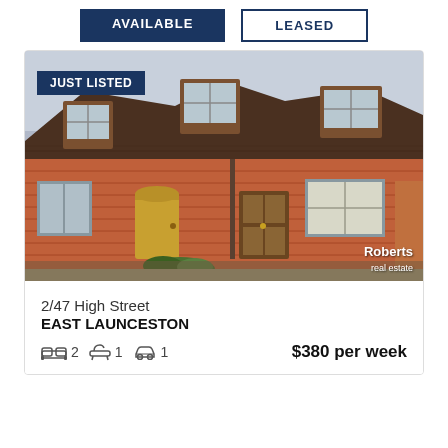AVAILABLE
LEASED
[Figure (photo): Exterior photo of a red brick townhouse with dormer windows and a tiled roof. JUST LISTED badge in top-left. Roberts real estate watermark bottom-right.]
JUST LISTED
2/47 High Street
EAST LAUNCESTON
2 bedrooms, 1 bathroom, 1 garage — $380 per week